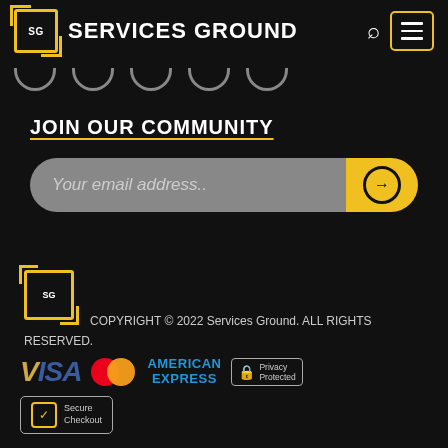SERVICES GROUND
[Figure (logo): Services Ground logo with SG in yellow-bordered bracket icon and navigation dots row]
JOIN OUR COMMUNITY
Your email address..
[Figure (logo): Services Ground footer logo with SG in yellow-bordered bracket icon]
COPYRIGHT © 2022 Services Ground. ALL RIGHTS RESERVED.
[Figure (infographic): Payment badges: VISA, Mastercard, American Express, Privacy Protected, Secure Checkout]